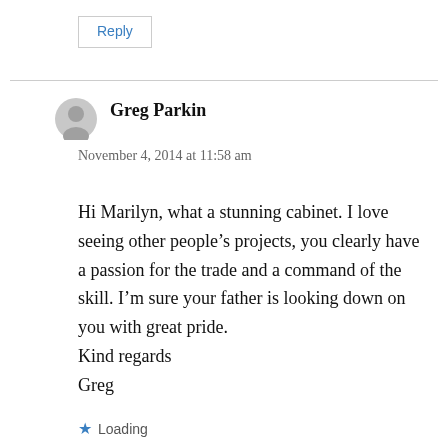Reply
Greg Parkin
November 4, 2014 at 11:58 am
Hi Marilyn, what a stunning cabinet. I love seeing other people’s projects, you clearly have a passion for the trade and a command of the skill. I’m sure your father is looking down on you with great pride.
Kind regards
Greg
Loading